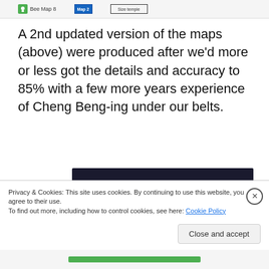[Figure (screenshot): Top strip showing map icons: a green icon with 'Bee Map 8' text, a blue 'Map 2' button, and a bordered 'Size temple' label]
A 2nd updated version of the maps (above) were produced after we'd more or less got the details and accuracy to 85% with a few more years experience of Cheng Beng-ing under our belts.
[Figure (screenshot): Dark navy advertisement banner showing 'online course.' in teal italic text, a teal 'Learn More' button, and a 'sensei' logo in the bottom right]
Privacy & Cookies: This site uses cookies. By continuing to use this website, you agree to their use.
To find out more, including how to control cookies, see here: Cookie Policy
Close and accept